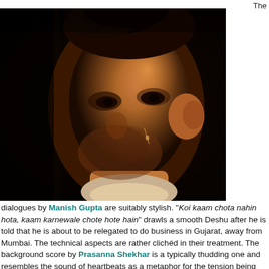The
[Figure (photo): Close-up portrait photograph of a young man with stubble, dark hair, illuminated by warm orange/amber light against a dark background, wearing a white garment.]
dialogues by Manish Gupta are suitably stylish. "Koi kaam chota nahin hota, kaam karnewale chote hote hain" drawls a smooth Deshu after he is told that he is about to be relegated to do business in Gujarat, away from Mumbai. The technical aspects are rather clichéd in their treatment. The background score by Prasanna Shekhar is a typically thudding one and resembles the sound of heartbeats as a metaphor for the tension being experienced by the principal characters. There is a healthy use of steadicam to ensure shaky camerawork for the gunfight and beating scenes.